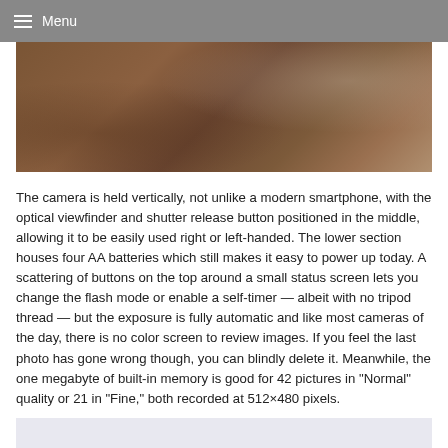Menu
[Figure (photo): Close-up photograph of a camera body surface showing brown/tan textured material]
The camera is held vertically, not unlike a modern smartphone, with the optical viewfinder and shutter release button positioned in the middle, allowing it to be easily used right or left-handed. The lower section houses four AA batteries which still makes it easy to power up today. A scattering of buttons on the top around a small status screen lets you change the flash mode or enable a self-timer — albeit with no tripod thread — but the exposure is fully automatic and like most cameras of the day, there is no color screen to review images. If you feel the last photo has gone wrong though, you can blindly delete it. Meanwhile, the one megabyte of built-in memory is good for 42 pictures in "Normal" quality or 21 in "Fine," both recorded at 512×480 pixels.
[Figure (photo): Bottom portion of another photo, light lavender/grey toned]